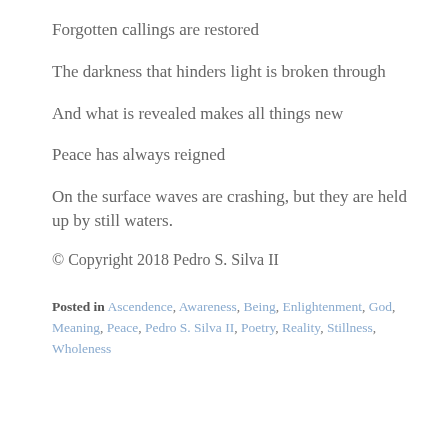Forgotten callings are restored
The darkness that hinders light is broken through
And what is revealed makes all things new
Peace has always reigned
On the surface waves are crashing, but they are held up by still waters.
© Copyright 2018 Pedro S. Silva II
Posted in Ascendence, Awareness, Being, Enlightenment, God, Meaning, Peace, Pedro S. Silva II, Poetry, Reality, Stillness, Wholeness